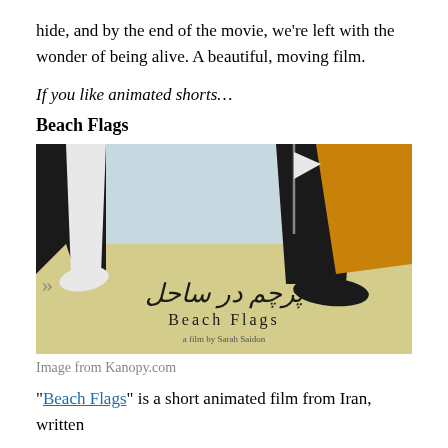hide, and by the end of the movie, we're left with the wonder of being alive. A beautiful, moving film.
If you like animated shorts…
Beach Flags
[Figure (photo): Movie poster/cover image for 'Beach Flags' (Persian: درچم در ساحل), a film by Sarah Saidon. Shows animated figures of legs and feet on a sandy beach with a small flag, with the film title in Persian script and English below, credited 'a film by Sarah Saidon'.]
Image from Kanopy.com
“Beach Flags” is a short animated film from Iran, written